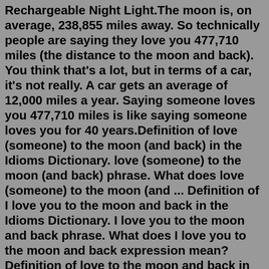Rechargeable Night Light.The moon is, on average, 238,855 miles away. So technically people are saying they love you 477,710 miles (the distance to the moon and back). You think that's a lot, but in terms of a car, it's not really. A car gets an average of 12,000 miles a year. Saying someone loves you 477,710 miles is like saying someone loves you for 40 years.Definition of love (someone) to the moon (and back) in the Idioms Dictionary. love (someone) to the moon (and back) phrase. What does love (someone) to the moon (and ... Definition of I love you to the moon and back in the Idioms Dictionary. I love you to the moon and back phrase. What does I love you to the moon and back expression mean? Definition of love to the moon and back in the Idioms Dictionary. love to the moon and back phrase. What does love to the moon and back expression mean? Definitions by the largest Idiom Dictionary. Definition of love to the moon and back in the Idioms Dictionary. love to the moon and back phrase. What does love to the moon and back